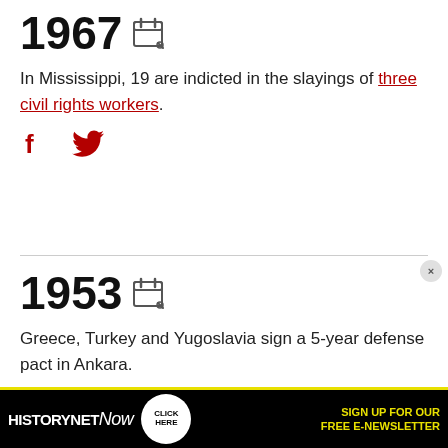1967
In Mississippi, 19 are indicted in the slayings of three civil rights workers.
1953
Greece, Turkey and Yugoslavia sign a 5-year defense pact in Ankara.
[Figure (other): HistoryNet Now advertisement banner with click here button and sign up for free e-newsletter text]